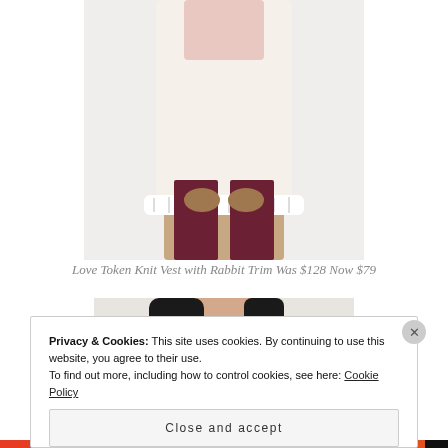[Figure (photo): Woman wearing a knit vest with rabbit fur trim and dark burgundy pants, cropped at torso]
Love Token Knit Vest with Rabbit Trim Was $128 Now $79
[Figure (photo): Woman wearing a beige double-breasted trench coat, cropped at upper body]
Privacy & Cookies: This site uses cookies. By continuing to use this website, you agree to their use.
To find out more, including how to control cookies, see here: Cookie Policy
Close and accept